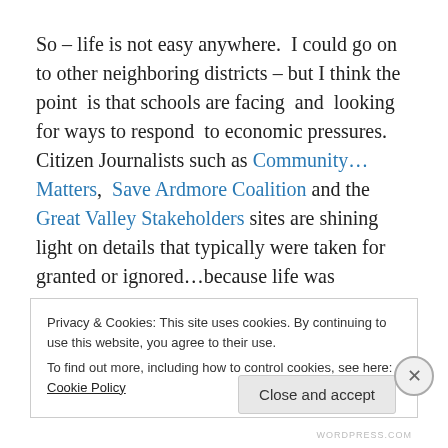So – life is not easy anywhere.  I could go on to other neighboring districts – but I think the point  is that schools are facing  and  looking for ways to respond  to economic pressures.  Citizen Journalists such as Community… Matters,  Save Ardmore Coalition and the Great Valley Stakeholders sites are shining light on details that typically were taken for granted or ignored…because life was progressing and nothing was broken.  Times were fine and
Privacy & Cookies: This site uses cookies. By continuing to use this website, you agree to their use.
To find out more, including how to control cookies, see here: Cookie Policy
Close and accept